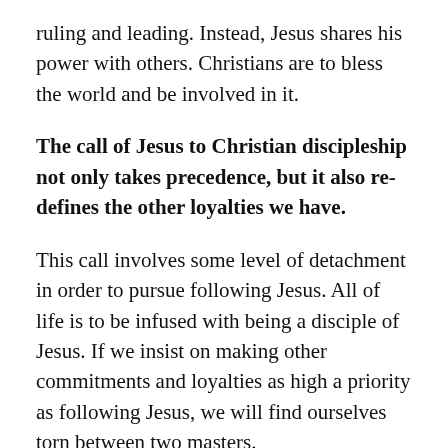ruling and leading. Instead, Jesus shares his power with others. Christians are to bless the world and be involved in it.
The call of Jesus to Christian discipleship not only takes precedence, but it also re-defines the other loyalties we have.
This call involves some level of detachment in order to pursue following Jesus. All of life is to be infused with being a disciple of Jesus. If we insist on making other commitments and loyalties as high a priority as following Jesus, we will find ourselves torn between two masters.